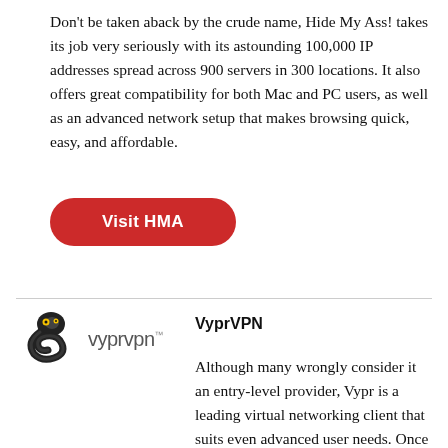Don't be taken aback by the crude name, Hide My Ass! takes its job very seriously with its astounding 100,000 IP addresses spread across 900 servers in 300 locations. It also offers great compatibility for both Mac and PC users, as well as an advanced network setup that makes browsing quick, easy, and affordable.
[Figure (other): Red rounded button with white text 'Visit HMA']
[Figure (logo): VyprVPN logo — stylized tornado/snake icon in black and yellow with 'vyprvpn' text in grey]
VyprVPN
Although many wrongly consider it an entry-level provider, Vypr is a leading virtual networking client that suits even advanced user needs. Once prone to issues with slow loading times and limited connectivity in certain parts of the world, Vypr is constantly upgrading and improving — so